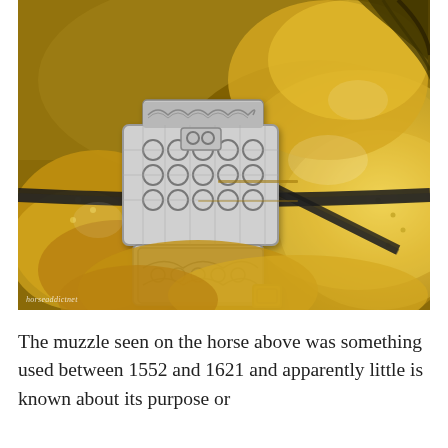[Figure (photo): Close-up photograph of an ornate gold/gilt horse armor piece featuring an intricate filigree metal muzzle with decorative openwork patterns, set against polished golden armor plates. The muzzle is silver-toned with elaborate lattice and scroll designs.]
The muzzle seen on the horse above was something used between 1552 and 1621 and apparently little is known about its purpose or